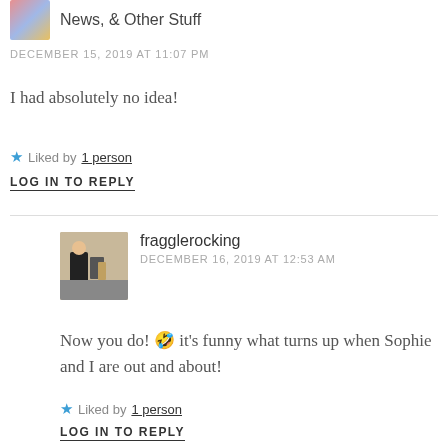News, & Other Stuff
DECEMBER 15, 2019 AT 11:07 PM
I had absolutely no idea!
★ Liked by 1 person
LOG IN TO REPLY
fragglerocking
DECEMBER 16, 2019 AT 12:53 AM
Now you do! 🤣 it's funny what turns up when Sophie and I are out and about!
★ Liked by 1 person
LOG IN TO REPLY